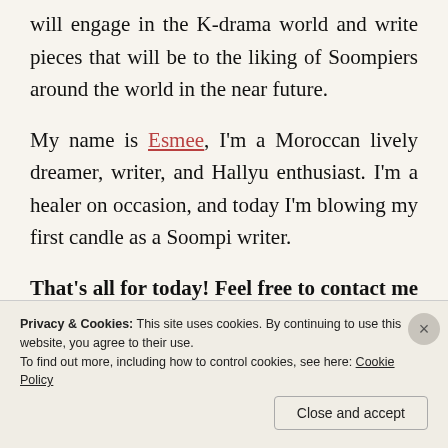will engage in the K-drama world and write pieces that will be to the liking of Soompiers around the world in the near future.
My name is Esmee, I’m a Moroccan lively dreamer, writer, and Hallyu enthusiast. I’m a healer on occasion, and today I’m blowing my first candle as a Soompi writer.
That’s all for today! Feel free to contact me if you have any questions, and stay tuned for more Hallyu gems. Until I see you next time, thank you for reading me.
Privacy & Cookies: This site uses cookies. By continuing to use this website, you agree to their use.
To find out more, including how to control cookies, see here: Cookie Policy
Close and accept